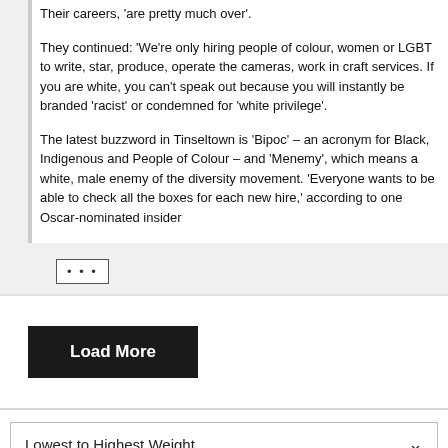Their careers, 'are pretty much over'.
They continued: 'We're only hiring people of colour, women or LGBT to write, star, produce, operate the cameras, work in craft services. If you are white, you can't speak out because you will instantly be branded 'racist' or condemned for 'white privilege'.
The latest buzzword in Tinseltown is 'Bipoc' – an acronym for Black, Indigenous and People of Colour – and 'Menemy', which means a white, male enemy of the diversity movement. 'Everyone wants to be able to check all the boxes for each new hire,' according to one Oscar-nominated insider
[Figure (other): Ellipsis button (three dots) with border]
[Figure (other): Load More button - black background with white text]
[Figure (other): Dropdown selector showing 'Lowest to Highest Weight' with chevron arrow]
Jun 10
"Blac Matte
[Figure (other): Advertisement overlay: 'Is It Ok To Not Want To Be In A Relationship While Dating?' by Herbeauty, with PurpleAds branding and close button]
[Figure (other): Black Lives Matter article thumbnail with logo]
[Figure (other): White Lives Matter article thumbnail with logo]